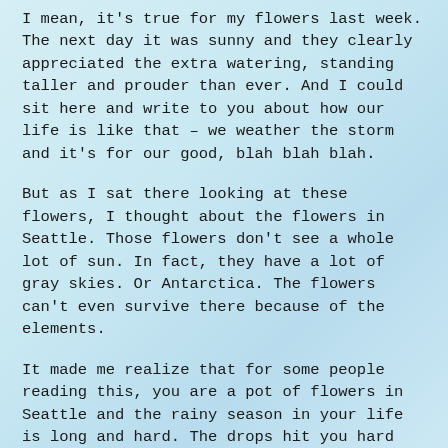I mean, it's true for my flowers last week. The next day it was sunny and they clearly appreciated the extra watering, standing taller and prouder than ever. And I could sit here and write to you about how our life is like that – we weather the storm and it's for our good, blah blah blah.
But as I sat there looking at these flowers, I thought about the flowers in Seattle. Those flowers don't see a whole lot of sun. In fact, they have a lot of gray skies. Or Antarctica. The flowers can't even survive there because of the elements.
It made me realize that for some people reading this, you are a pot of flowers in Seattle and the rainy season in your life is long and hard. The drops hit you hard and your stems break and it feels like it's never going to stop. And you know what, it may not. And that sucks and I empathize so greatly with you.